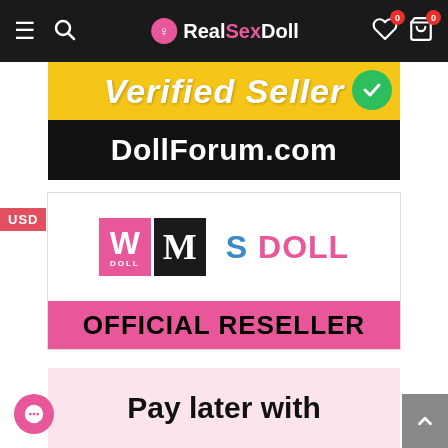RealSexDoll navigation bar with hamburger menu, search, logo, wishlist and cart icons
[Figure (logo): Verified Seller banner with yellow background and DollForum.com black bar below]
USD
[Figure (logo): Official Reseller card with WM Doll, M Doll, and SE DOLL logos above pink OFFICIAL RESELLER bar]
Pay later with